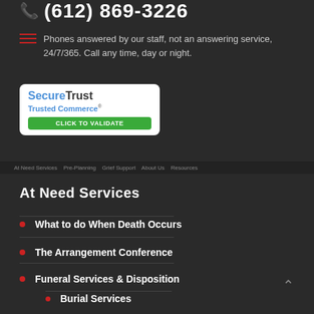(612) 869-3226
Phones answered by our staff, not an answering service, 24/7/365. Call any time, day or night.
[Figure (logo): SecureTrust Trusted Commerce - Click to Validate badge]
At Need Services
What to do When Death Occurs
The Arrangement Conference
Funeral Services & Disposition
Burial Services
Cremation Services